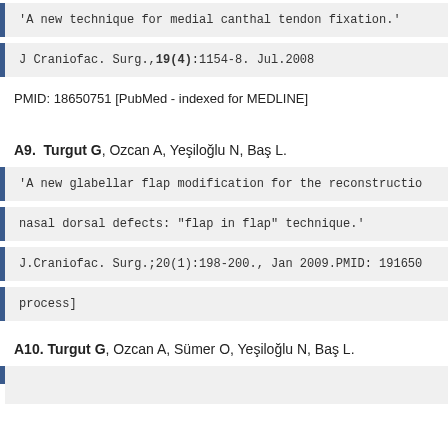'A new technique for medial canthal tendon fixation.'
J Craniofac. Surg.,19(4):1154-8. Jul.2008
PMID: 18650751 [PubMed - indexed for MEDLINE]
A9.  Turgut G, Ozcan A, Yeşiloğlu N, Baş L.
'A new glabellar flap modification for the reconstruction of
nasal dorsal defects: "flap in flap" technique.'
J.Craniofac. Surg.;20(1):198-200., Jan 2009.PMID: 191650
process]
A10. Turgut G, Ozcan A, Sümer O, Yeşiloğlu N, Baş L.